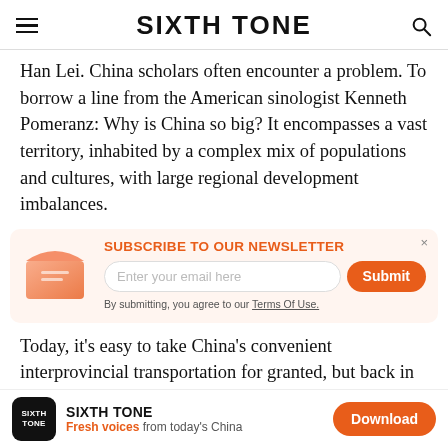SIXTH TONE
Han Lei. China scholars often encounter a problem. To borrow a line from the American sinologist Kenneth Pomeranz: Why is China so big? It encompasses a vast territory, inhabited by a complex mix of populations and cultures, with large regional development imbalances.
[Figure (infographic): Subscribe to our newsletter box with envelope icon, email input field, Submit button, and Terms of Use link]
Today, it's easy to take China's convenient interprovincial transportation for granted, but back in my Ph.D. days in the
SIXTH TONE Fresh voices from today's China Download